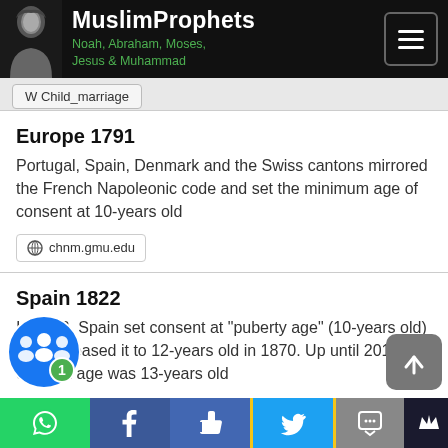MuslimProphets Noah, Abraham, Moses, Jesus & Muhammad
W Child_marriage
Europe 1791
Portugal, Spain, Denmark and the Swiss cantons mirrored the French Napoleonic code and set the minimum age of consent at 10-years old
chnm.gmu.edu
Spain 1822
In 1822, Spain set consent at "puberty age" (10-years old) and increased it to 12-years old in 1870. Up until 2015, the consent age was 13-years old
W ...f_consent